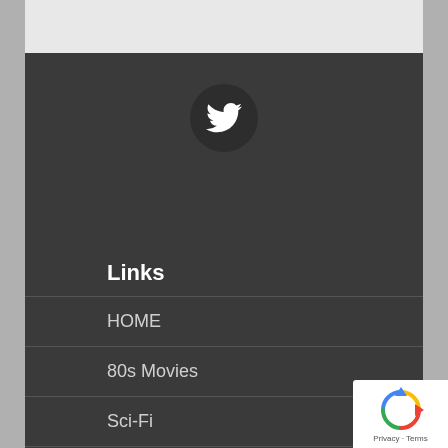[Figure (logo): Twitter bird icon in a dark circle, centered in a dark grey header band]
Links
HOME
80s Movies
Sci-Fi
Brick Joes
[Figure (logo): reCAPTCHA badge with spinning arrows logo and Privacy - Terms text]